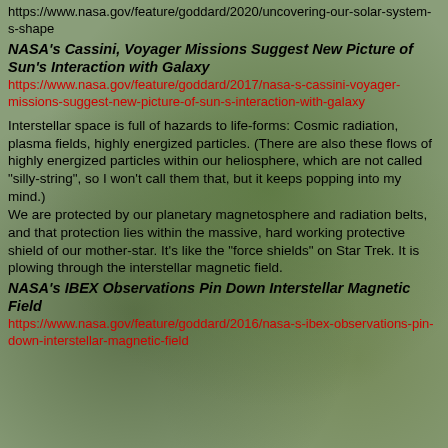https://www.nasa.gov/feature/goddard/2020/uncovering-our-solar-system-s-shape
NASA's Cassini, Voyager Missions Suggest New Picture of Sun's Interaction with Galaxy
https://www.nasa.gov/feature/goddard/2017/nasa-s-cassini-voyager-missions-suggest-new-picture-of-sun-s-interaction-with-galaxy
Interstellar space is full of hazards to life-forms: Cosmic radiation, plasma fields, highly energized particles. (There are also these flows of highly energized particles within our heliosphere, which are not called "silly-string", so I won't call them that, but it keeps popping into my mind.) We are protected by our planetary magnetosphere and radiation belts, and that protection lies within the massive, hard working protective shield of our mother-star. It's like the "force shields" on Star Trek. It is plowing through the interstellar magnetic field.
NASA's IBEX Observations Pin Down Interstellar Magnetic Field
https://www.nasa.gov/feature/goddard/2016/nasa-s-ibex-observations-pin-down-interstellar-magnetic-field